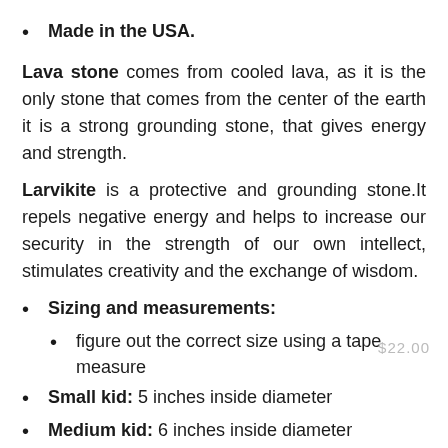Made in the USA.
Lava stone comes from cooled lava, as it is the only stone that comes from the center of the earth it is a strong grounding stone, that gives energy and strength.
Larvikite is a protective and grounding stone.It repels negative energy and helps to increase our security in the strength of our own intellect, stimulates creativity and the exchange of wisdom.
Sizing and measurements:
figure out the correct size using a tape measure
Small kid: 5 inches inside diameter
Medium kid: 6 inches inside diameter